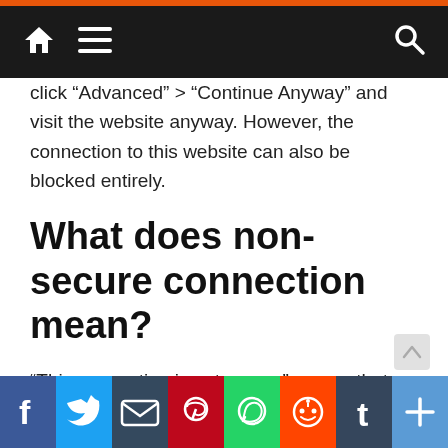Navigation bar with home, menu, and search icons
click “Advanced” > “Continue Anyway” and visit the website anyway. However, the connection to this website can also be blocked entirely.
What does non-secure connection mean?
“This connection is not secure” means that Google Chrome cannot load the desired website with a secure method for the time being due to an unknown/expired SSL certificate or an insecure connection between the PC and the server.
What to do if this is not a
[Figure (infographic): Social share buttons row: Facebook, Twitter, Email, Pinterest, WhatsApp, Reddit, Tumblr, More (+)]